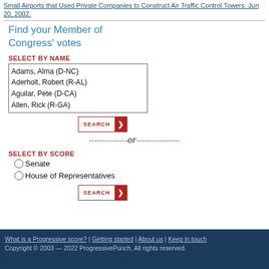Small Airports that Used Private Companies to Construct Air Traffic Control Towers. Jun 20, 2002.
Find your Member of Congress' votes
SELECT BY NAME
Adams, Alma (D-NC)
Aderholt, Robert (R-AL)
Aguilar, Pete (D-CA)
Allen, Rick (R-GA)
SEARCH
- - - - - - - - - - - - - -or- - - - - - - - - - - - - -
SELECT BY SCORE
Senate
House of Representatives
SEARCH
What is a Progressive score? | Getting started | About us | Keep in touch
Copyright © 2003 — 2022 ProgressivePunch, All rights reserved.